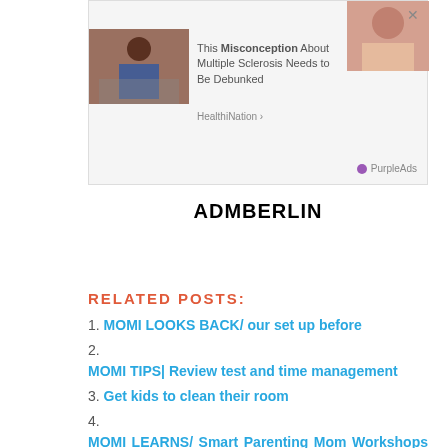[Figure (screenshot): Advertisement box showing a person in a wheelchair and a woman, with text 'This Misconception About Multiple Sclerosis Needs to Be Debunked' by HealthiNation, powered by PurpleAds]
ADMBERLIN
RELATED POSTS:
1. MOMI LOOKS BACK/ our set up before
2. MOMI TIPS| Review test and time management
3. Get kids to clean their room
4. MOMI LEARNS/ Smart Parenting Mom Workshops 2: All about School-Aged Kids